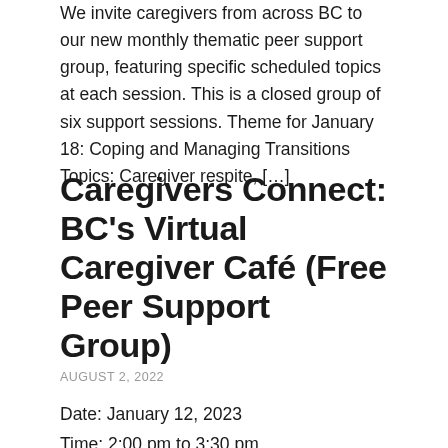We invite caregivers from across BC to our new monthly thematic peer support group, featuring specific scheduled topics at each session. This is a closed group of six support sessions. Theme for January 18: Coping and Managing Transitions Topics: Caregiver respite, […]
Caregivers Connect: BC's Virtual Caregiver Café (Free Peer Support Group)
AUGUST 2, 2022
Date: January 12, 2023
Time: 2:00 pm to 3:30 pm